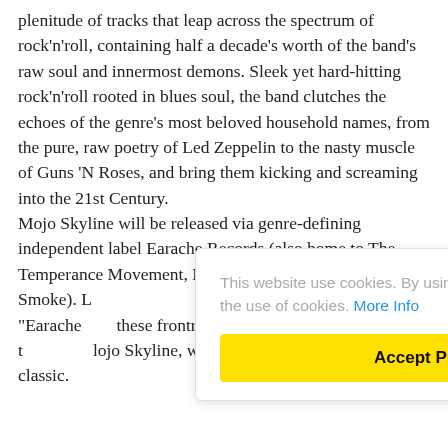plenitude of tracks that leap across the spectrum of rock'n'roll, containing half a decade's worth of the band's raw soul and innermost demons. Sleek yet hard-hitting rock'n'roll rooted in blues soul, the band clutches the echoes of the genre's most beloved household names, from the pure, raw poetry of Led Zeppelin to the nasty muscle of Guns 'N Roses, and bring them kicking and screaming into the 21st Century.
Mojo Skyline will be released via genre-defining independent label Earache Records (also home to The Temperance Movement, Massive Wagons, Blackberry Smoke). L... s: "Earache ... these frontrunn... nd turn heads in t... lojo Skyline, w... ned as a modern rock classic.
This website use cookies. By using this website, you accept to the use of cookies. More Info
Accept Privacy